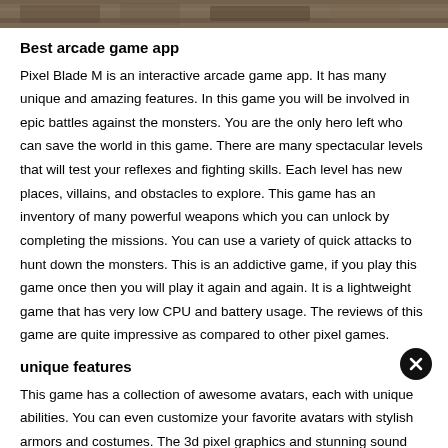[Figure (photo): Top portion of a game screenshot showing a dark fantasy/battle scene background]
Best arcade game app
Pixel Blade M is an interactive arcade game app. It has many unique and amazing features. In this game you will be involved in epic battles against the monsters. You are the only hero left who can save the world in this game. There are many spectacular levels that will test your reflexes and fighting skills. Each level has new places, villains, and obstacles to explore. This game has an inventory of many powerful weapons which you can unlock by completing the missions. You can use a variety of quick attacks to hunt down the monsters. This is an addictive game, if you play this game once then you will play it again and again. It is a lightweight game that has very low CPU and battery usage. The reviews of this game are quite impressive as compared to other pixel games.
unique features
This game has a collection of awesome avatars, each with unique abilities. You can even customize your favorite avatars with stylish armors and costumes. The 3d pixel graphics and stunning sound